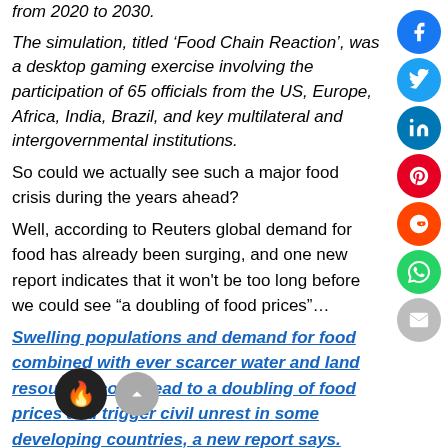from 2020 to 2030.
The simulation, titled ‘Food Chain Reaction’, was a desktop gaming exercise involving the participation of 65 officials from the US, Europe, Africa, India, Brazil, and key multilateral and intergovernmental institutions.
So could we actually see such a major food crisis during the years ahead?
Well, according to Reuters global demand for food has already been surging, and one new report indicates that it won’t be too long before we could see “a doubling of food prices”…
Swelling populations and demand for food combined with ever scarcer water and land resources could lead to a doubling of food prices and trigger civil unrest in some developing countries, a new report says.
Demand for food with a higher environmental impact, such as meat, has surged as emerging countries like China and India are experiencing wealth, said Marti...